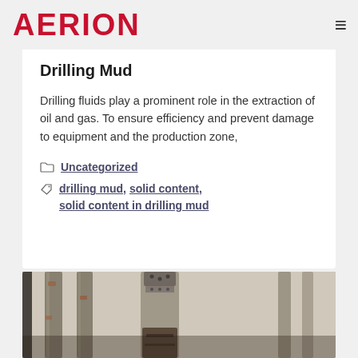AERION
Drilling Mud
Drilling fluids play a prominent role in the extraction of oil and gas. To ensure efficiency and prevent damage to equipment and the production zone,
Uncategorized
drilling mud, solid content, solid content in drilling mud
[Figure (photo): Close-up photograph of industrial drilling equipment with metal pipes and a drill bit, showing rust and mud residue]